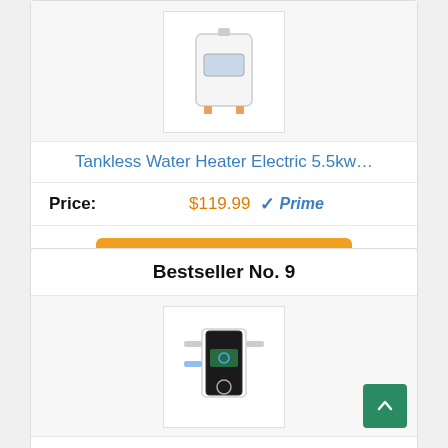[Figure (photo): Tankless water heater device, white, shown from front]
Tankless Water Heater Electric 5.5kw…
Price: $119.99 ✓Prime
Buy on Amazon
Bestseller No. 9
[Figure (photo): EcoSmart ECO 8 tankless water heater, black and white, shown from front with pipes]
Ecosmart ECO 8EcoSmart 8 KW Electric…